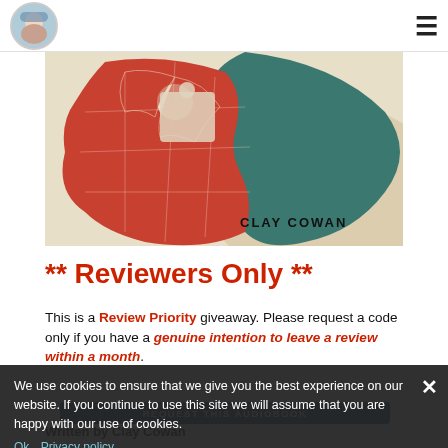[Logo] [Hamburger menu]
[Figure (illustration): Book cover artwork showing red puzzle-piece shaped figures and teal/green shape on beige background, with text 'CLAY COWAN' at bottom right]
** Reviewers Only **
This is a Review Priority giveaway. Please request a code only if you have a genuine intention to leave a review within a month.
Written by Clay Cowan
We use cookies to ensure that we give you the best experience on our website. If you continue to use this site we will assume that you are happy with our use of cookies.
Ok   Privacy policy